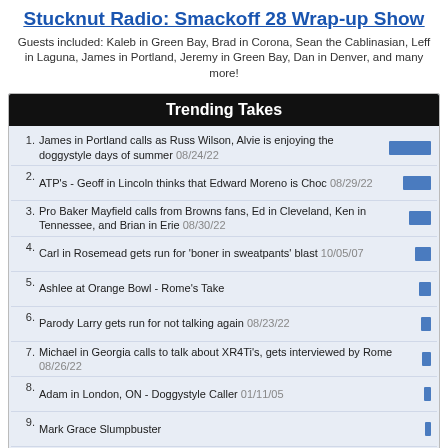Stucknut Radio: Smackoff 28 Wrap-up Show
Guests included: Kaleb in Green Bay, Brad in Corona, Sean the Cablinasian, Leff in Laguna, James in Portland, Jeremy in Green Bay, Dan in Denver, and many more!
Trending Takes
James in Portland calls as Russ Wilson, Alvie is enjoying the doggystyle days of summer 08/24/22
ATP's - Geoff in Lincoln thinks that Edward Moreno is Choc 08/29/22
Pro Baker Mayfield calls from Browns fans, Ed in Cleveland, Ken in Tennessee, and Brian in Erie 08/30/22
Carl in Rosemead gets run for 'boner in sweatpants' blast 10/05/07
Ashlee at Orange Bowl - Rome's Take
Parody Larry gets run for not talking again 08/23/22
Michael in Georgia calls to talk about XR4Ti's, gets interviewed by Rome 08/26/22
Adam in London, ON - Doggystyle Caller 01/11/05
Mark Grace Slumpbuster
Najeh Davenport breaks into a dorm and takes a dump in a laundry basket 07/08/02